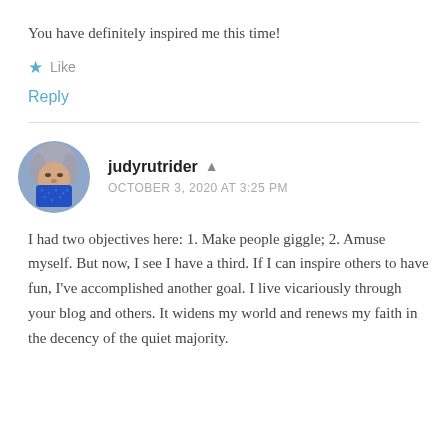You have definitely inspired me this time!
★ Like
Reply
judyrutrider ▲
OCTOBER 3, 2020 AT 3:25 PM
[Figure (photo): Circular avatar photo of a person with grey hair wearing a blue patterned face mask]
I had two objectives here: 1. Make people giggle; 2. Amuse myself. But now, I see I have a third. If I can inspire others to have fun, I've accomplished another goal. I live vicariously through your blog and others. It widens my world and renews my faith in the decency of the quiet majority.